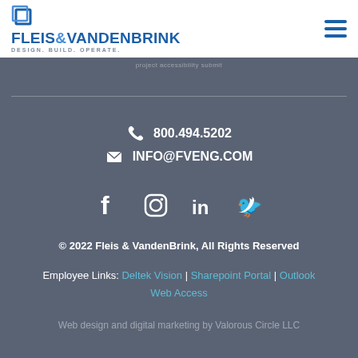[Figure (logo): Fleis & VandenBrink logo with blue square icon, company name in blue bold text, tagline DESIGN. BUILD. OPERATE.]
800.494.5202
INFO@FVENG.COM
[Figure (illustration): Social media icons: Facebook, Instagram, LinkedIn, Twitter in white on dark background]
© 2022 Fleis & VandenBrink, All Rights Reserved
Employee Links: Deltek Vision | Sharepoint Portal | Outlook Web Access
Web design and digital marketing by Valorous Circle LLC